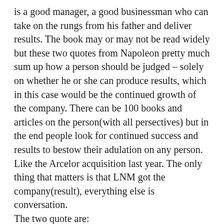is a good manager, a good businessman who can take on the rungs from his father and deliver results. The book may or may not be read widely but these two quotes from Napoleon pretty much sum up how a person should be judged – solely on whether he or she can produce results, which in this case would be the continued growth of the company. There can be 100 books and articles on the person(with all persectives) but in the end people look for continued success and results to bestow their adulation on any person.
Like the Arcelor acquisition last year. The only thing that matters is that LNM got the company(result), everything else is conversation.
The two quote are:
Be successful! I judge men only by the results of their actions. – Napoleon Bonaparte
It is the success which makes great men. –